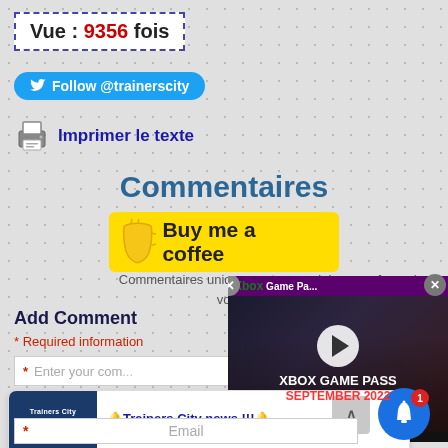Vue : 9356 fois
Follow @trainerscity
Imprimer le texte
Commentaires
[Figure (other): Buy me a coffee button with yellow background and coffee cup icon]
Commentaires uniquement en anglais ou en francais ou vos commentaires s...
Add Comment
* Required information
Enter your com...
[Figure (screenshot): Xbox Game Pass September 2022 video advertisement overlay with play button]
[Figure (screenshot): Trainers City Breaking News banner with thumbnail]
Trainers City news !!!
1 day ago
Email